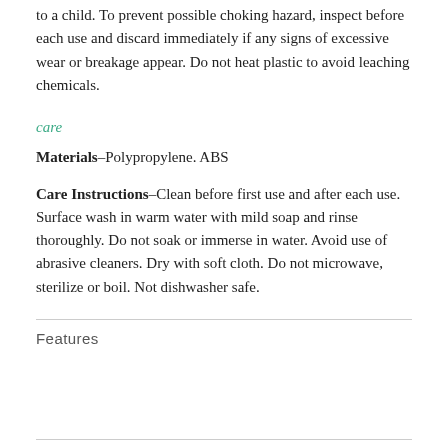to a child. To prevent possible choking hazard, inspect before each use and discard immediately if any signs of excessive wear or breakage appear. Do not heat plastic to avoid leaching chemicals.
care
Materials–Polypropylene. ABS
Care Instructions–Clean before first use and after each use. Surface wash in warm water with mild soap and rinse thoroughly. Do not soak or immerse in water. Avoid use of abrasive cleaners. Dry with soft cloth. Do not microwave, sterilize or boil. Not dishwasher safe.
Features